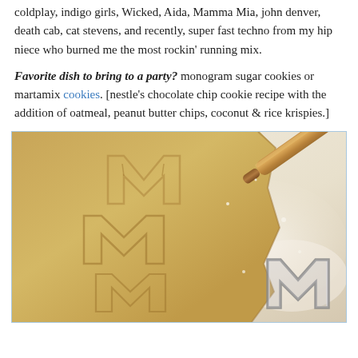coldplay, indigo girls, Wicked, Aida, Mamma Mia, john denver, death cab, cat stevens, and recently, super fast techno from my hip niece who burned me the most rockin' running mix.
Favorite dish to bring to a party? monogram sugar cookies or martamix cookies. [nestle's chocolate chip cookie recipe with the addition of oatmeal, peanut butter chips, coconut & rice krispies.]
[Figure (photo): Photo of cookie dough rolled out on a white floured surface with M-shaped cookie cutouts pressed into the dough, a wooden rolling pin in the upper right corner, and a metal M-shaped cookie cutter in the lower right corner.]